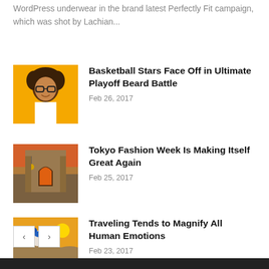WordPress underwear in the brand latest Perfectly Fit campaign, which was shot by Lachian...
Basketball Stars Face Off in Ultimate Playoff Beard Battle
Feb 26, 2017
Tokyo Fashion Week Is Making Itself Great Again
Feb 25, 2017
Traveling Tends to Magnify All Human Emotions
Feb 23, 2017